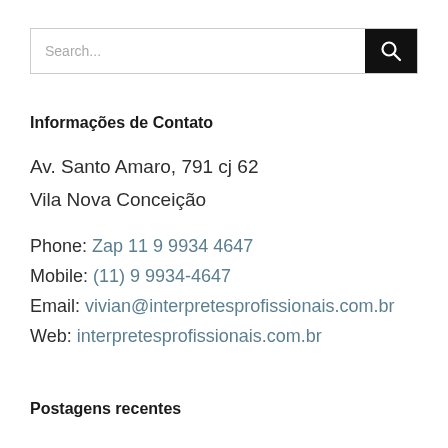[Figure (screenshot): Search bar with text input field showing placeholder 'Search...' and a black button with a magnifying glass icon]
Informações de Contato
Av. Santo Amaro, 791 cj 62
Vila Nova Conceição

Phone: Zap 11 9 9934 4647
Mobile: (11) 9 9934-4647
Email: vivian@interpretesprofissionais.com.br
Web: interpretesprofissionais.com.br
Postagens recentes